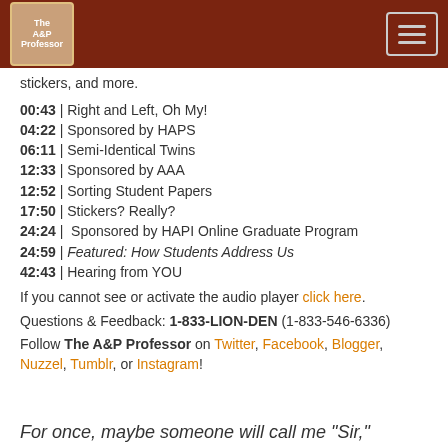The A&P Professor
stickers, and more.
00:43 | Right and Left, Oh My!
04:22 | Sponsored by HAPS
06:11 | Semi-Identical Twins
12:33 | Sponsored by AAA
12:52 | Sorting Student Papers
17:50 | Stickers? Really?
24:24 | Sponsored by HAPI Online Graduate Program
24:59 | Featured: How Students Address Us
42:43 | Hearing from YOU
If you cannot see or activate the audio player click here.
Questions & Feedback: 1-833-LION-DEN (1-833-546-6336)
Follow The A&P Professor on Twitter, Facebook, Blogger, Nuzzel, Tumblr, or Instagram!
For once, maybe someone will call me "Sir,"